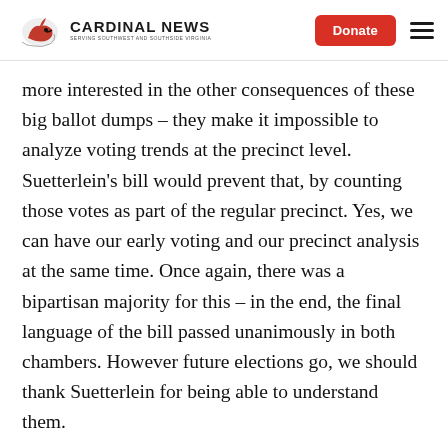Cardinal News | Donate
more interested in the other consequences of these big ballot dumps – they make it impossible to analyze voting trends at the precinct level. Suetterlein's bill would prevent that, by counting those votes as part of the regular precinct. Yes, we can have our early voting and our precinct analysis at the same time. Once again, there was a bipartisan majority for this – in the end, the final language of the bill passed unanimously in both chambers. However future elections go, we should thank Suetterlein for being able to understand them.
I won't attempt to catalog every good bill that got